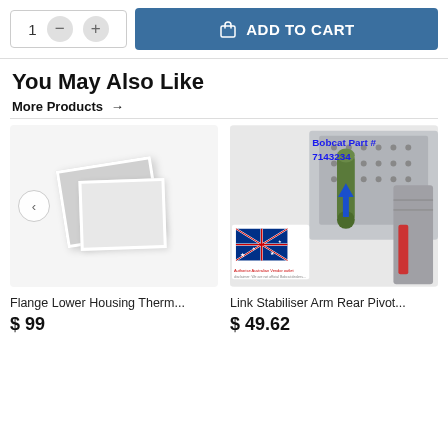[Figure (screenshot): Add to cart bar with quantity selector showing '1', minus and plus buttons, and a blue 'ADD TO CART' button with shopping bag icon]
You May Also Like
More Products →
[Figure (photo): Placeholder image stack (grey photo placeholders) for Flange Lower Housing Therm... product]
Flange Lower Housing Therm...
$ 99
[Figure (photo): Photo of a Bobcat part #7143234 showing a mechanical component with a blue arrow pointing to it, with an Australian flag sticker and disclaimer text]
Link Stabiliser Arm Rear Pivot...
$ 49.62